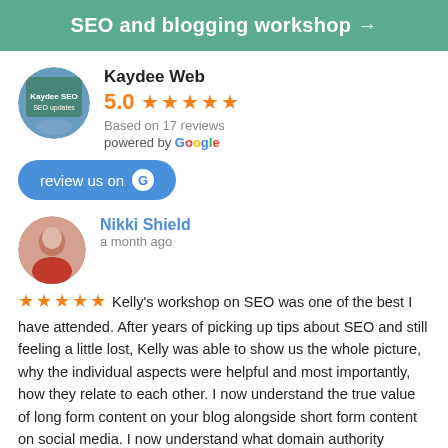SEO and blogging workshop →
Kaydee Web
5.0 ★★★★★
Based on 17 reviews
powered by Google
review us on G
Nikki Shield
a month ago
★★★★★ Kelly's workshop on SEO was one of the best I have attended. After years of picking up tips about SEO and still feeling a little lost, Kelly was able to show us the whole picture, why the individual aspects were helpful and most importantly, how they relate to each other. I now understand the true value of long form content on your blog alongside short form content on social media. I now understand what domain authority actually means and how